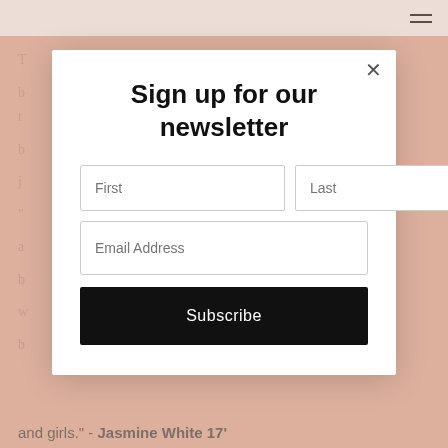[Figure (screenshot): Background webpage with pink/salmon background color showing partial article text and a top white navigation bar with hamburger menu icon.]
[Figure (screenshot): Modal dialog overlay with white background containing a newsletter sign-up form with First/Last name fields, Email Address field, and Subscribe button.]
Sign up for our newsletter
First
Last
Email Address
Subscribe
and girls." - Jasmine White 17'